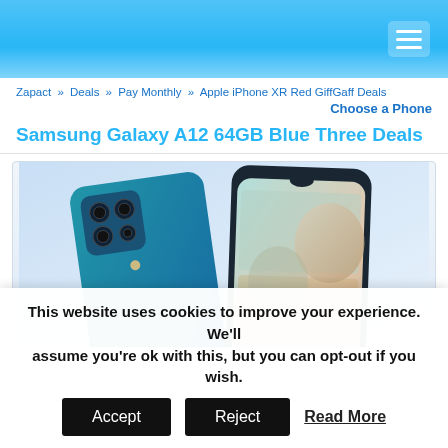[Figure (screenshot): Website header with light blue gradient background and hamburger menu icon (three white horizontal lines) in top right corner]
Zapact » Deals » Pay Monthly » Apple iPhone XR Red GiffGaff Deals
Choose a Phone
Samsung Galaxy A12 64GB Blue Three Deals
[Figure (photo): Samsung Galaxy A12 smartphone in blue color, showing both back (with quad camera array) and front (with water-drop notch screen), set against a light blue/white gradient background]
This website uses cookies to improve your experience. We'll assume you're ok with this, but you can opt-out if you wish.
Accept   Reject   Read More